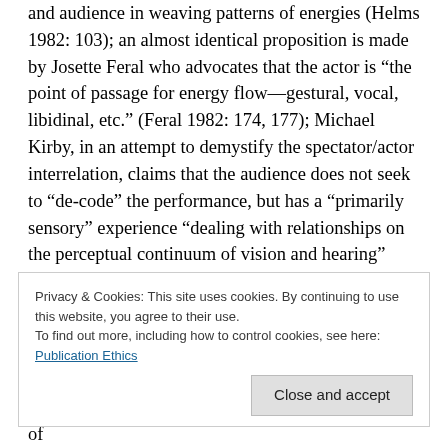and audience in weaving patterns of energies (Helms 1982: 103); an almost identical proposition is made by Josette Feral who advocates that the actor is "the point of passage for energy flow—gestural, vocal, libidinal, etc." (Feral 1982: 174, 177); Michael Kirby, in an attempt to demystify the spectator/actor interrelation, claims that the audience does not seek to "de-code" the performance, but has a "primarily sensory" experience "dealing with relationships on the perceptual continuum of vision and hearing" (Kirby 1982: 110).
Expectedly, moderate and reconciling approaches were also proposed, such as that of Bert States who suggested
Privacy & Cookies: This site uses cookies. By continuing to use this website, you agree to their use.
To find out more, including how to control cookies, see here:
Publication Ethics
towards a more primal and naturalistic consideration of